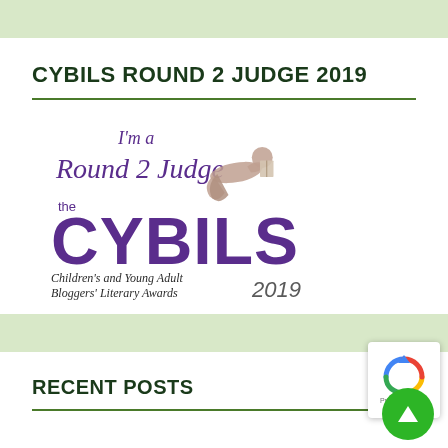CYBILS ROUND 2 JUDGE 2019
[Figure (logo): CYBILS Round 2 Judge 2019 badge logo. Cursive text reads 'I'm a Round 2 Judge' above the CYBILS logo with a child reading silhouette. Below reads 'Children's and Young Adult Bloggers' Literary Awards 2019']
RECENT POSTS